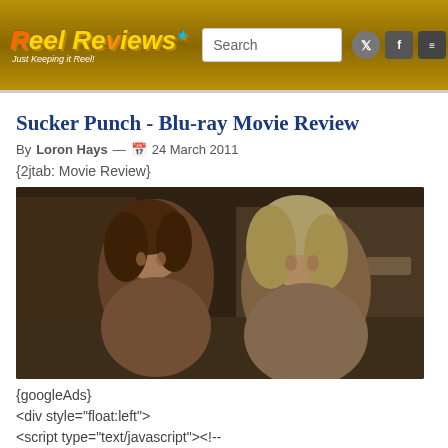Reel Reviews — Just Keeping it Reel!
Sucker Punch - Blu-ray Movie Review
By Loron Hays — 24 March 2011
{2jtab: Movie Review}
[Figure (photo): Movie still from Sucker Punch showing two blonde actresses in a room with mirrors]
{googleAds}
<div style="float:left">
<script type="text/javascript"><!--
google_ad_client = "pub-9764823118029583";